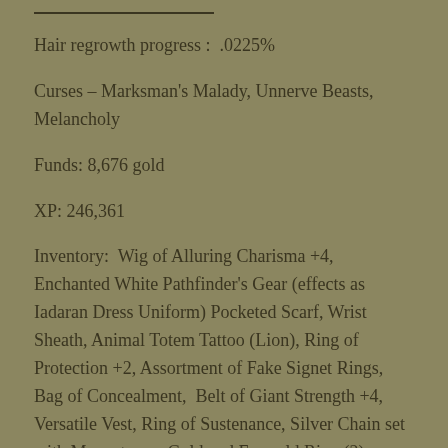Hair regrowth progress :  .0225%
Curses – Marksman's Malady, Unnerve Beasts, Melancholy
Funds: 8,676 gold
XP: 246,361
Inventory:  Wig of Alluring Charisma +4, Enchanted White Pathfinder's Gear (effects as Iadaran Dress Uniform) Pocketed Scarf, Wrist Sheath, Animal Totem Tattoo (Lion), Ring of Protection +2, Assortment of Fake Signet Rings,  Bag of Concealment,  Belt of Giant Strength +4, Versatile Vest, Ring of Sustenance, Silver Chain set with Moonstones, Gold and Emerald Ring (2)